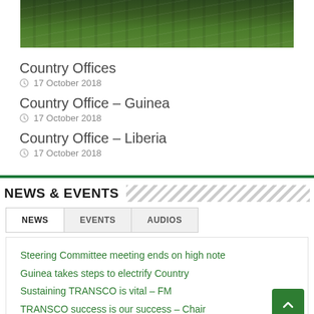[Figure (photo): Forest/vegetation photo banner at the top of the page]
Country Offices
17 October 2018
Country Office – Guinea
17 October 2018
Country Office – Liberia
17 October 2018
NEWS & EVENTS
NEWS
EVENTS
AUDIOS
Steering Committee meeting ends on high note
Guinea takes steps to electrify Country
Sustaining TRANSCO is vital – FM
TRANSCO success is our success – Chair